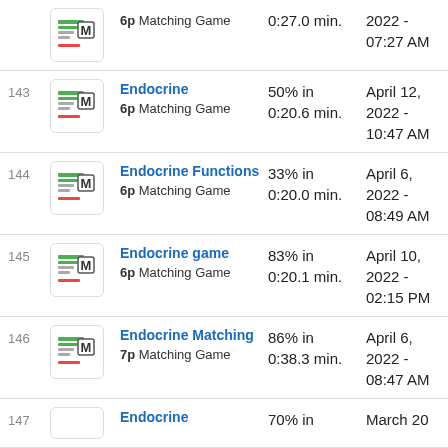| # | Icon | Activity | Score/Time | Date |
| --- | --- | --- | --- | --- |
|  |  | 6p Matching Game | 0:27.0 min. | 2022 - 07:27 AM |
| 143 |  | Endocrine 6p Matching Game | 50% in 0:20.6 min. | April 12, 2022 - 10:47 AM |
| 144 |  | Endocrine Functions 6p Matching Game | 33% in 0:20.0 min. | April 6, 2022 - 08:49 AM |
| 145 |  | Endocrine game 6p Matching Game | 83% in 0:20.1 min. | April 10, 2022 - 02:15 PM |
| 146 |  | Endocrine Matching 7p Matching Game | 86% in 0:38.3 min. | April 6, 2022 - 08:47 AM |
| 147 |  | Endocrine... | 70% in... | March 20... |